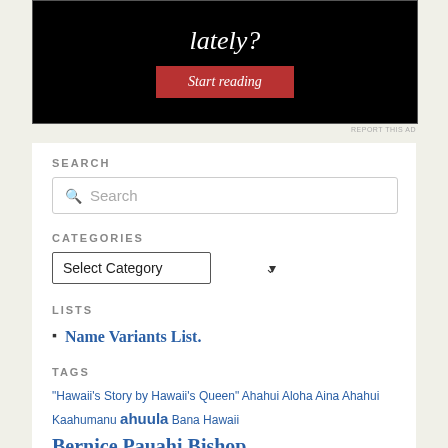[Figure (screenshot): Advertisement banner with black background showing 'lately?' in white italic serif text and a red 'Start reading' button]
REPORT THIS AD
SEARCH
Search
CATEGORIES
Select Category
LISTS
Name Variants List.
TAGS
"Hawaii's Story by Hawaii's Queen" Ahahui Aloha Aina Ahahui Kaahumanu ahuula Bana Hawaii Bernice Pauahi Bishop